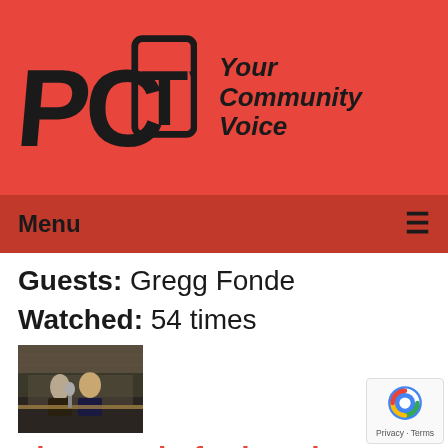[Figure (logo): PCTV logo with text 'Your Community Voice' on red background]
Menu ≡
Guests: Gregg Fonde
Watched: 54 times
[Figure (photo): Thumbnail image of people at a board meeting table]
The Board of Education Meeting o... 08-23-18